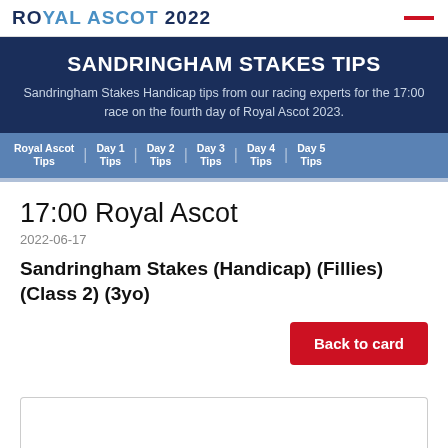ROYAL ASCOT 2022
SANDRINGHAM STAKES TIPS
Sandringham Stakes Handicap tips from our racing experts for the 17:00 race on the fourth day of Royal Ascot 2023.
Royal Ascot Tips
Day 1 Tips
Day 2 Tips
Day 3 Tips
Day 4 Tips
Day 5 Tips
17:00 Royal Ascot
2022-06-17
Sandringham Stakes (Handicap) (Fillies) (Class 2) (3yo)
Back to card